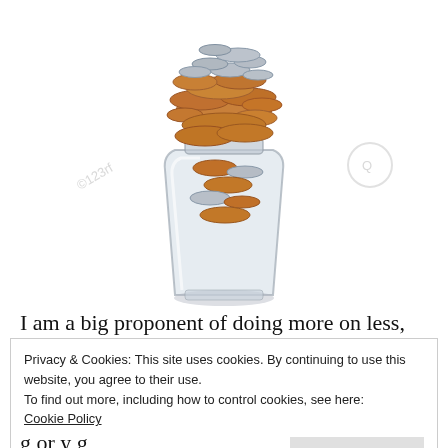[Figure (photo): A glass jar filled with many coins (pennies, nickels, dimes) overflowing at the top, on a white background. Watermark text visible on left and right sides.]
I am a big proponent of doing more on less, living modestly, and implementing creative frugal strategies. In this post, however, I'm going to talk about how taking it too far can actually keep you broke rather than lift you up
Privacy & Cookies: This site uses cookies. By continuing to use this website, you agree to their use.
To find out more, including how to control cookies, see here:
Cookie Policy
Close and accept
g or y g